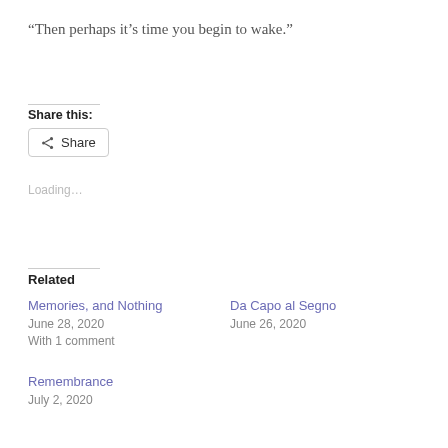“Then perhaps it’s time you begin to wake.”
Share this:
Loading...
Related
Memories, and Nothing
June 28, 2020
With 1 comment
Da Capo al Segno
June 26, 2020
Remembrance
July 2, 2020